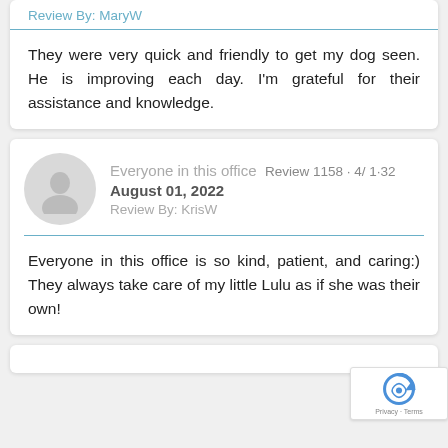Review By: MaryW
They were very quick and friendly to get my dog seen. He is improving each day. I'm grateful for their assistance and knowledge.
Everyone in this office · Review 1158 · 4/ 1·32
August 01, 2022
Review By: KrisW
Everyone in this office is so kind, patient, and caring:) They always take care of my little Lulu as if she was their own!
Privacy · Terms